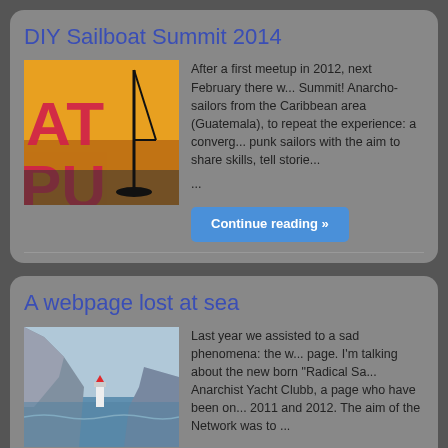DIY Sailboat Summit 2014
[Figure (photo): Orange/red background with large text reading 'AT PU' and a sailboat mast silhouette]
After a first meetup in 2012, next February there will be a Sailboat Summit! Anarcho-sailors from the Caribbean area (Guatemala), to repeat the experience: a convergence of punk sailors with the aim to share skills, tell stories ...
Continue reading »
A webpage lost at sea
[Figure (photo): Coastal cliff landscape with blue sea and a lighthouse in the distance]
Last year we assisted to a sad phenomena: the w... page. I'm talking about the new born "Radical Sa... Anarchist Yacht Clubb, a page who have been on... 2011 and 2012. The aim of the Network was to ...
Continue reading »